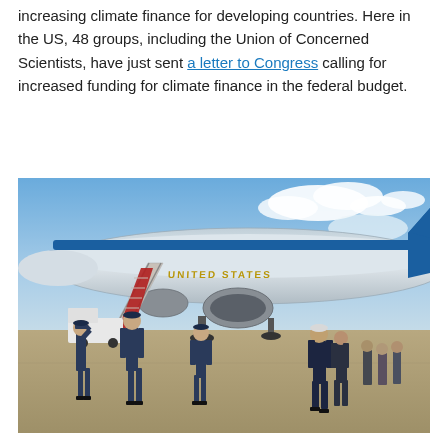increasing climate finance for developing countries. Here in the US, 48 groups, including the Union of Concerned Scientists, have just sent a letter to Congress calling for increased funding for climate finance in the federal budget.
[Figure (photo): Air Force One (United States presidential aircraft) on a tarmac with military honor guard in dress uniforms saluting and standing at attention near the stairs, while a figure in a dark suit (likely President) walks away from the plane.]